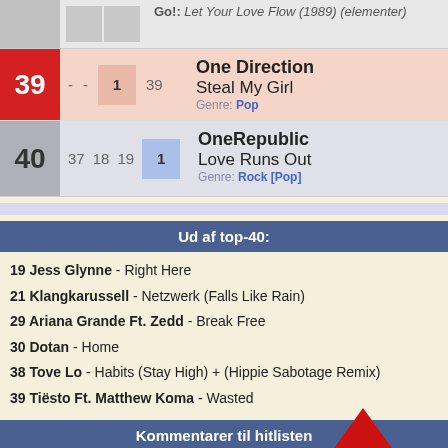Go!: Let Your Love Flow (1989) / (elementer)
| # |  |  |  |  | Artist / Song / Genre |
| --- | --- | --- | --- | --- | --- |
| 39 | - | - | 1 | 39 | One Direction / Steal My Girl / Genre: Pop |
| 40 | 37 | 18 | 19 | 1 | OneRepublic / Love Runs Out / Genre: Rock [Pop] |
Ud af top-40:
19 Jess Glynne - Right Here
21 Klangkarussell - Netzwerk (Falls Like Rain)
29 Ariana Grande Ft. Zedd - Break Free
30 Dotan - Home
38 Tove Lo - Habits (Stay High) + (Hippie Sabotage Remix)
39 Tiësto Ft. Matthew Koma - Wasted
Kommentarer til hitlisten
Skriv din kommentar:
Dit navn:
[Figure (logo): Red triangle logo with text 'Hit']